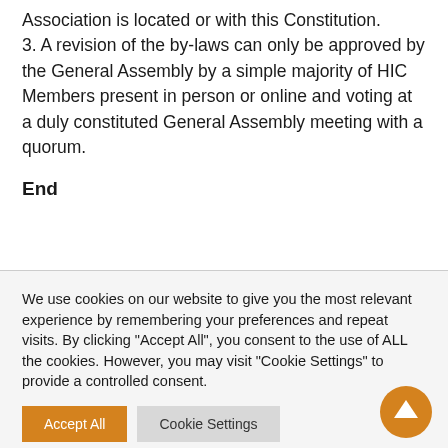Association is located or with this Constitution. 3. A revision of the by-laws can only be approved by the General Assembly by a simple majority of HIC Members present in person or online and voting at a duly constituted General Assembly meeting with a quorum.
End
We use cookies on our website to give you the most relevant experience by remembering your preferences and repeat visits. By clicking "Accept All", you consent to the use of ALL the cookies. However, you may visit "Cookie Settings" to provide a controlled consent.